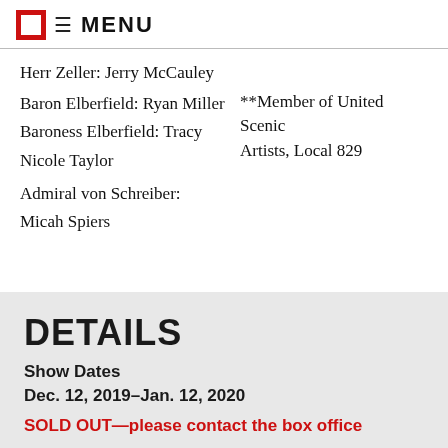MENU
Herr Zeller: Jerry McCauley
Baron Elberfield: Ryan Miller    **Member of United Scenic Artists, Local 829
Baroness Elberfield: Tracy Nicole Taylor
Admiral von Schreiber: Micah Spiers
DETAILS
Show Dates
Dec. 12, 2019–Jan. 12, 2020
SOLD OUT—please contact the box office